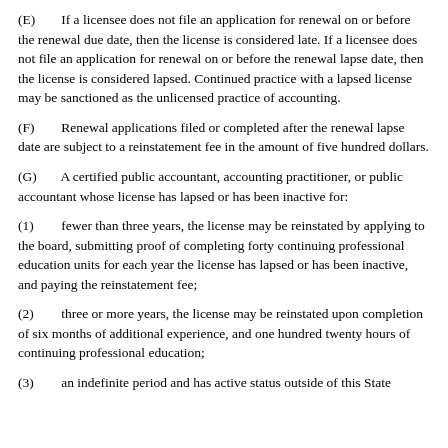(E)    If a licensee does not file an application for renewal on or before the renewal due date, then the license is considered late. If a licensee does not file an application for renewal on or before the renewal lapse date, then the license is considered lapsed. Continued practice with a lapsed license may be sanctioned as the unlicensed practice of accounting.
(F)    Renewal applications filed or completed after the renewal lapse date are subject to a reinstatement fee in the amount of five hundred dollars.
(G)    A certified public accountant, accounting practitioner, or public accountant whose license has lapsed or has been inactive for:
(1)    fewer than three years, the license may be reinstated by applying to the board, submitting proof of completing forty continuing professional education units for each year the license has lapsed or has been inactive, and paying the reinstatement fee;
(2)    three or more years, the license may be reinstated upon completion of six months of additional experience, and one hundred twenty hours of continuing professional education;
(3)    an indefinite period and has active status outside of this State